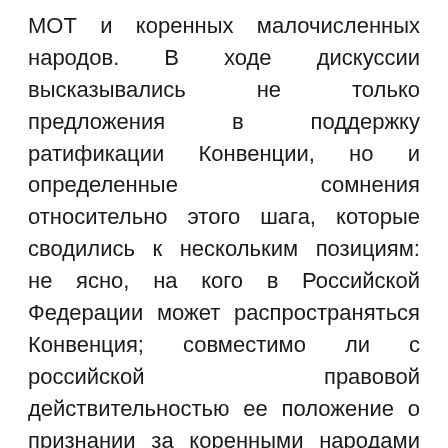МОТ и коренных малочисленных народов. В ходе дискуссии высказывались не только предложения в поддержку ратификации Конвенции, но и определенные сомнения относительно этого шага, которые сводились к нескольким позициям: не ясно, на кого в Российской Федерации может распространяться Конвенция; совместимо ли с российской правовой действительностью ее положение о признании за коренными народами права собственности и владения на земли, которые они традиционно занимают; допустима ли ратификация документа в отсутствие необходимой нормативной правовой базы; Россия способна успешно решать проблемы коренных малочисленных народов и без ратификации Конвенции. В Рекомендациях, принятых по итогам слушаний,